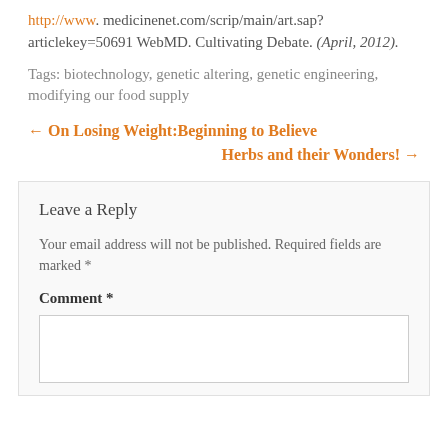http://www. medicinenet.com/scrip/main/art.sap?articlekey=50691 WebMD. Cultivating Debate. (April, 2012).
Tags: biotechnology, genetic altering, genetic engineering, modifying our food supply
← On Losing Weight:Beginning to Believe    Herbs and their Wonders! →
Leave a Reply
Your email address will not be published. Required fields are marked *
Comment *